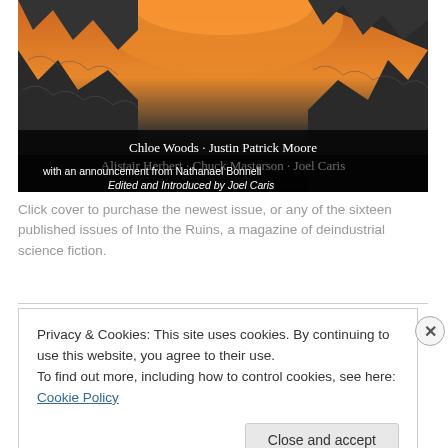[Figure (illustration): Book cover of 'Into the Ruins' magazine showing dark rocky landscape with orange sky. Authors listed: Chloe Woods, Justin Patrick Moore, Alistair Herbert, Chuck Masterson, Joel Caris. With an announcement from Nathanael Bonnell. Edited and Introduced by Joel Caris.]
Click cover to purchase the newest issue, or any of the sixteen published issues of Into the Ruins, a magazine of deindustrial science fiction.
Privacy & Cookies: This site uses cookies. By continuing to use this website, you agree to their use.
To find out more, including how to control cookies, see here: Cookie Policy